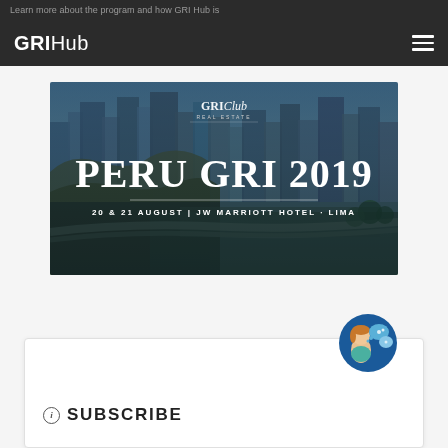Learn more about the program and how GRI Hub is transforming meetings.
[Figure (logo): GRIHub navigation bar logo with hamburger menu icon on dark background]
[Figure (photo): Peru GRI 2019 event banner with cityscape of Lima, Peru. Text reads: GRI Club Real Estate logo, PERU GRI 2019, 20 & 21 AUGUST | JW MARRIOTT HOTEL · LIMA]
[Figure (illustration): Customer support avatar illustration showing a woman with speech bubbles, in a blue circle]
ⓘ SUBSCRIBE